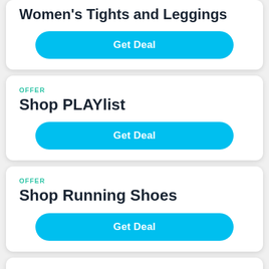Women's Tights and Leggings
Get Deal
OFFER
Shop PLAYlist
Get Deal
OFFER
Shop Running Shoes
Get Deal
OFFER